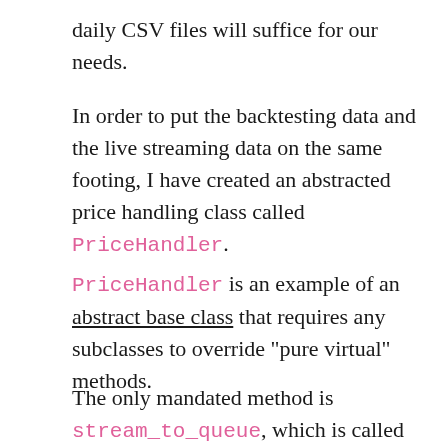daily CSV files will suffice for our needs.
In order to put the backtesting data and the live streaming data on the same footing, I have created an abstracted price handling class called PriceHandler.
PriceHandler is an example of an abstract base class that requires any subclasses to override "pure virtual" methods.
The only mandated method is stream_to_queue, which is called via the pricing thread when the system is activated (either live